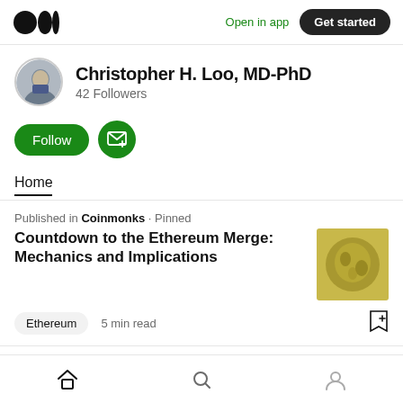Open in app | Get started
Christopher H. Loo, MD-PhD
42 Followers
Follow
Home
Published in Coinmonks · Pinned
Countdown to the Ethereum Merge: Mechanics and Implications
Ethereum   5 min read